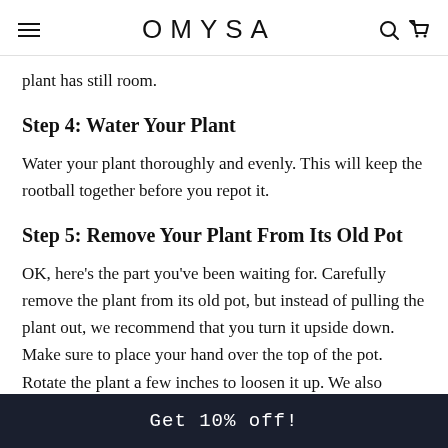OMYSA
plant has still room.
Step 4: Water Your Plant
Water your plant thoroughly and evenly. This will keep the rootball together before you repot it.
Step 5: Remove Your Plant From Its Old Pot
OK, here's the part you've been waiting for. Carefully remove the plant from its old pot, but instead of pulling the plant out, we recommend that you turn it upside down. Make sure to place your hand over the top of the pot. Rotate the plant a few inches to loosen it up. We also suggest that you use a knife to separate
Get 10% off!